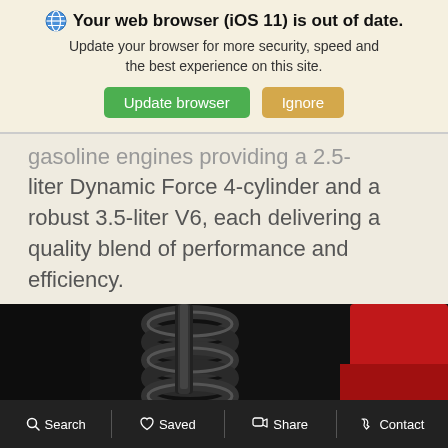[Figure (screenshot): Browser out-of-date notification banner with globe icon, bold title 'Your web browser (iOS 11) is out of date.', subtitle text, and two buttons: 'Update browser' (green) and 'Ignore' (orange/tan).]
gasoline engines providing a 2.5-liter Dynamic Force 4-cylinder and a robust 3.5-liter V6, each delivering a quality blend of performance and efficiency.
[Figure (photo): Close-up photo of a car suspension coil spring and shock absorber, dark background with partial view of a red car body.]
Search   Saved   Share   Contact